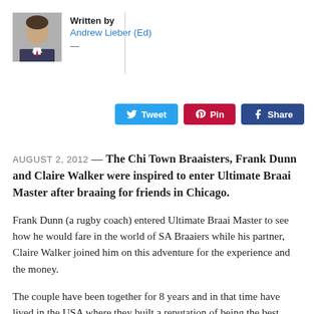[Figure (photo): Headshot photo of Andrew Lieber, a man wearing a suit]
Written by
Andrew Lieber (Ed)
—
[Figure (infographic): Social sharing buttons: Tweet (Twitter/blue), Pin (Pinterest/red), Share (Facebook/dark blue)]
AUGUST 2, 2012 — The Chi Town Braaisters, Frank Dunn and Claire Walker were inspired to enter Ultimate Braai Master after braaing for friends in Chicago.
Frank Dunn (a rugby coach) entered Ultimate Braai Master to see how he would fare in the world of SA Braaiers while his partner, Claire Walker joined him on this adventure for the experience and the money.
The couple have been together for 8 years and in that time have lived in the USA where they built a reputation of being the best around a barbecue in Chicago.